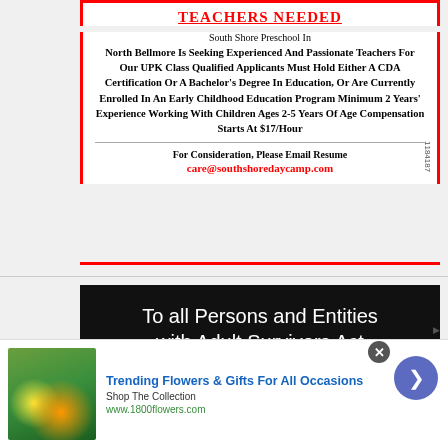TEACHERS NEEDED
South Shore Preschool In North Bellmore Is Seeking Experienced And Passionate Teachers For Our UPK Class Qualified Applicants Must Hold Either A CDA Certification Or A Bachelor's Degree In Education, Or Are Currently Enrolled In An Early Childhood Education Program Minimum 2 Years' Experience Working With Children Ages 2-5 Years Of Age Compensation Starts At $17/Hour
For Consideration, Please Email Resume care@southshoredaycamp.com
To all Persons and Entities with Adult Survivors Act Sexual Abuse Claims Against...
[Figure (infographic): Bottom advertisement banner for 1800flowers.com showing a woman with flowers, headline 'Trending Flowers & Gifts For All Occasions', subtext 'Shop The Collection', URL 'www.1800flowers.com', with a close button and forward arrow navigation button.]